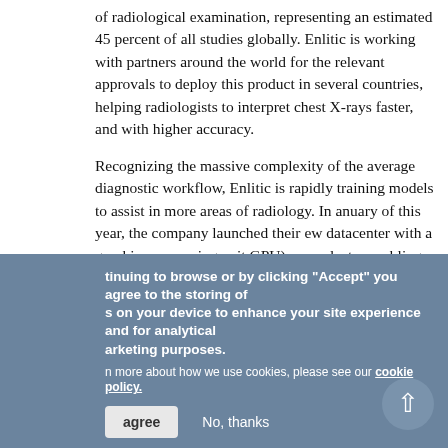of radiological examination, representing an estimated 45 percent of all studies globally. Enlitic is working with partners around the world for the relevant approvals to deploy this product in several countries, helping radiologists to interpret chest X-rays faster, and with higher accuracy.
Recognizing the massive complexity of the average diagnostic workflow, Enlitic is rapidly training models to assist in more areas of radiology. In January of this year, the company launched their new datacenter with a graphics processing unit (GPU) supercluster enabling model development at more than 10 times the speed. In February, they launched their global beta program, enabling their
[Figure (infographic): Social media share buttons sidebar: email (blue envelope), Facebook (blue f), Twitter (blue bird), LinkedIn (blue in), plus button]
continuing to browse or by clicking "Accept" you agree to the storing of cookies on your device to enhance your site experience and for analytical and marketing purposes. To learn more about how we use cookies, please see our cookie policy.